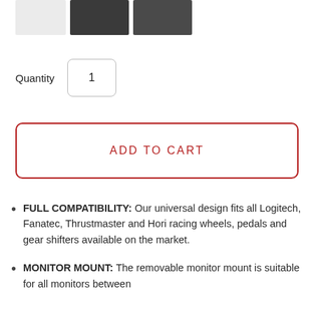[Figure (photo): Three product thumbnail images: one blank/light grey, two dark product photos of a racing sim rig.]
Quantity   1
ADD TO CART
FULL COMPATIBILITY: Our universal design fits all Logitech, Fanatec, Thrustmaster and Hori racing wheels, pedals and gear shifters available on the market.
MONITOR MOUNT: The removable monitor mount is suitable for all monitors between